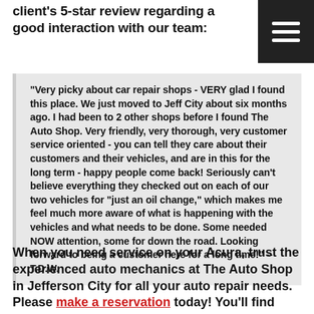client's 5-star review regarding a good interaction with our team:
“Very picky about car repair shops - VERY glad I found this place. We just moved to Jeff City about six months ago. I had been to 2 other shops before I found The Auto Shop. Very friendly, very thorough, very customer service oriented - you can tell they care about their customers and their vehicles, and are in this for the long term - happy people come back! Seriously can’t believe everything they checked out on each of our two vehicles for “just an oil change,” which makes me feel much more aware of what is happening with the vehicles and what needs to be done. Some needed NOW attention, some for down the road. Looking forward to being a customer here for a long time!” -- T.D.W.
When you need service on your Acura, trust the experienced auto mechanics at The Auto Shop in Jefferson City for all your auto repair needs. Please make a reservation today! You’ll find